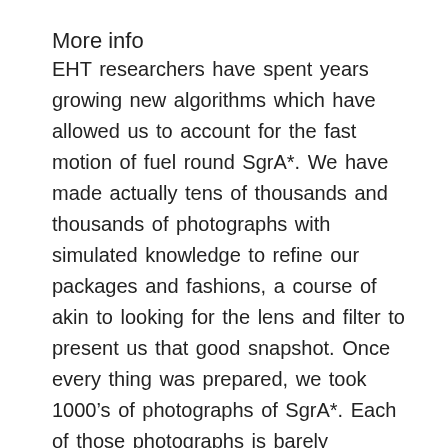More info
EHT researchers have spent years growing new algorithms which have allowed us to account for the fast motion of fuel round SgrA*. We have made actually tens of thousands and thousands of photographs with simulated knowledge to refine our packages and fashions, a course of akin to looking for the lens and filter to present us that good snapshot. Once every thing was prepared, we took 1000’s of photographs of SgrA*. Each of those photographs is barely completely different, however the overwhelming majority present the attribute ring of sunshine round a black gap with slight variations within the distribution of brightness. The picture proven to